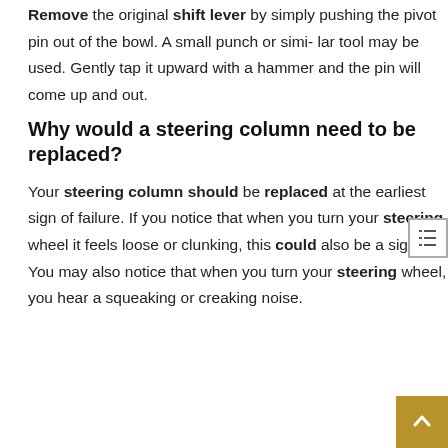Remove the original shift lever by simply pushing the pivot pin out of the bowl. A small punch or simi- lar tool may be used. Gently tap it upward with a hammer and the pin will come up and out.
Why would a steering column need to be replaced?
Your steering column should be replaced at the earliest sign of failure. If you notice that when you turn your steering wheel it feels loose or clunking, this could also be a sign. You may also notice that when you turn your steering wheel, you hear a squeaking or creaking noise.